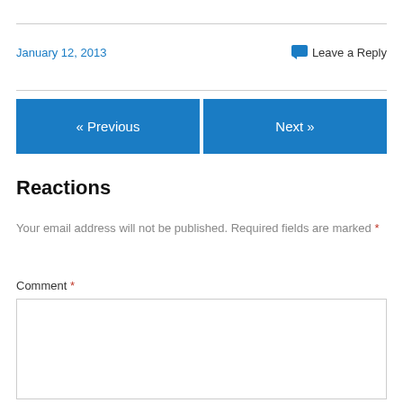January 12, 2013
Leave a Reply
« Previous
Next »
Reactions
Your email address will not be published. Required fields are marked *
Comment *